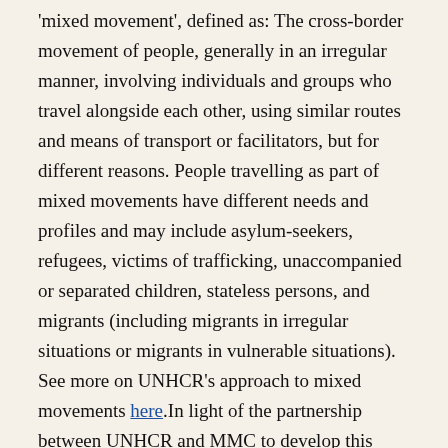'mixed movement', defined as: The cross-border movement of people, generally in an irregular manner, involving individuals and groups who travel alongside each other, using similar routes and means of transport or facilitators, but for different reasons. People travelling as part of mixed movements have different needs and profiles and may include asylum-seekers, refugees, victims of trafficking, unaccompanied or separated children, stateless persons, and migrants (including migrants in irregular situations or migrants in vulnerable situations). See more on UNHCR's approach to mixed movements here.In light of the partnership between UNHCR and MMC to develop this joint workshop, the term 'mixed movement' is used.